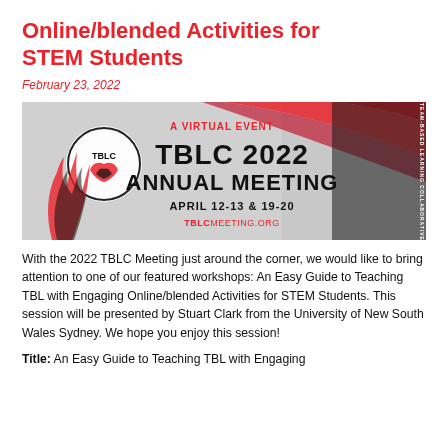Online/blended Activities for STEM Students
February 23, 2022
[Figure (illustration): TBLC 2022 Annual Meeting banner. A Virtual Event. TBLC 2022 Annual Meeting. April 12-13 & 19-20. TBLCmeeting.org. Team-Based Learning Collaborative.]
With the 2022 TBLC Meeting just around the corner, we would like to bring attention to one of our featured workshops: An Easy Guide to Teaching TBL with Engaging Online/blended Activities for STEM Students. This session will be presented by Stuart Clark from the University of New South Wales Sydney. We hope you enjoy this session!
Title: An Easy Guide to Teaching TBL with Engaging